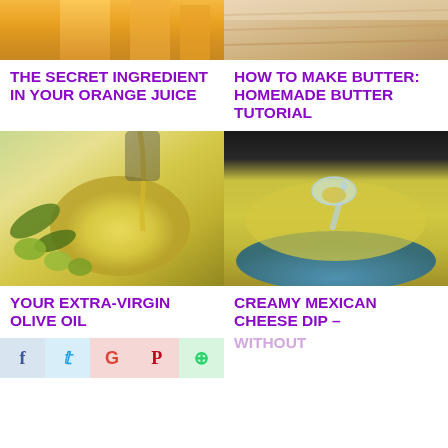[Figure (photo): Top portion of orange juice bottles]
[Figure (photo): Top portion of butter or dairy product]
THE SECRET INGREDIENT IN YOUR ORANGE JUICE
HOW TO MAKE BUTTER: HOMEMADE BUTTER TUTORIAL
[Figure (photo): Olive oil being poured into a glass bowl with green olives]
[Figure (photo): Creamy yellow Mexican cheese dip in a blue bowl with a spoon]
YOUR EXTRA-VIRGIN OLIVE OIL
CREAMY MEXICAN CHEESE DIP – WITHOUT